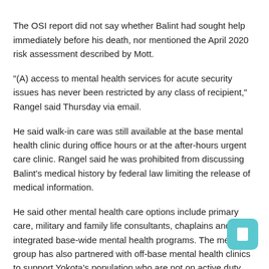The OSI report did not say whether Balint had sought help immediately before his death, nor mentioned the April 2020 risk assessment described by Mott.
"(A) access to mental health services for acute security issues has never been restricted by any class of recipient," Rangel said Thursday via email.
He said walk-in care was still available at the base mental health clinic during office hours or at the after-hours urgent care clinic. Rangel said he was prohibited from discussing Balint’s medical history by federal law limiting the release of medical information.
He said other mental health care options include primary care, military and family life consultants, chaplains and integrated base-wide mental health programs. The medical group has also partnered with off-base mental health clinics to support Yokota’s population who are not on active duty, Rangel said.
Trevor Balint disappeared on February 1, 2021, and a ground and air